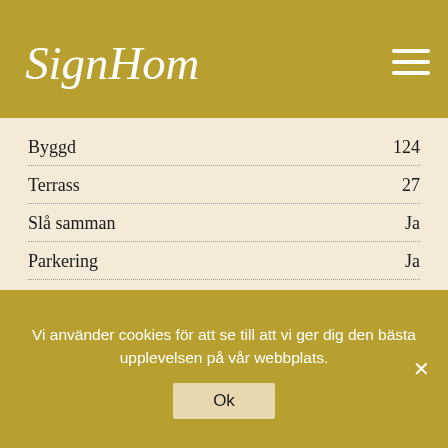[Figure (logo): SignHome cursive logo in white on gold/olive background]
| Egenskap | Värde |
| --- | --- |
| Byggd | 124 |
| Terrass | 27 |
| Slå samman | Ja |
| Parkering | Ja |
| Trädgård | Ja |
| Läge | Nära till golf, Nära till affärer, Nära till havet, Urbanisation |
| Väderstreck | Söder |
| Skick | Perfekt |
Vi använder cookies för att se till att vi ger dig den bästa upplevelsen på vår webbplats.